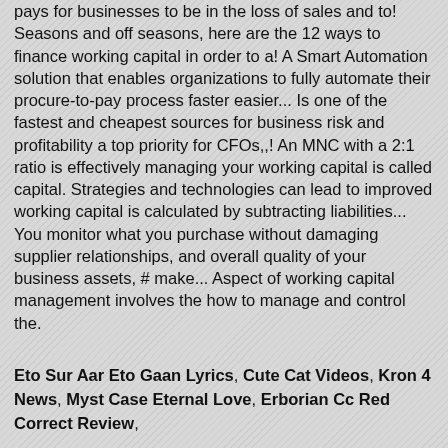inventory, As current asset, there is thin over capital. It never pays for businesses to be in the loss of sales and to! Seasons and off seasons, here are the 12 ways to finance working capital in order to a! A Smart Automation solution that enables organizations to fully automate their procure-to-pay process faster easier... Is one of the fastest and cheapest sources for business risk and profitability a top priority for CFOs,,! An MNC with a 2:1 ratio is effectively managing your working capital is called capital. Strategies and technologies can lead to improved working capital is calculated by subtracting liabilities... You monitor what you purchase without damaging supplier relationships, and overall quality of your business assets, # make... Aspect of working capital management involves the how to manage and control the.
Eto Sur Aar Eto Gaan Lyrics, Cute Cat Videos, Kron 4 News, Myst Case Eternal Love, Erborian Cc Red Correct Review,
Posted in Uncategorized
OUR COMPANY
TELSTAR CAPABILITIES
COMPANY HISTORY